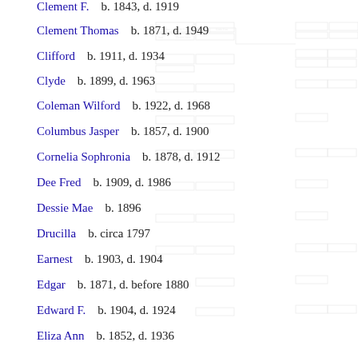Clement F.   b. 1843, d. 1919
Clement Thomas   b. 1871, d. 1949
Clifford   b. 1911, d. 1934
Clyde   b. 1899, d. 1963
Coleman Wilford   b. 1922, d. 1968
Columbus Jasper   b. 1857, d. 1900
Cornelia Sophronia   b. 1878, d. 1912
Dee Fred   b. 1909, d. 1986
Dessie Mae   b. 1896
Drucilla   b. circa 1797
Earnest   b. 1903, d. 1904
Edgar   b. 1871, d. before 1880
Edward F.   b. 1904, d. 1924
Eliza Ann   b. 1852, d. 1936